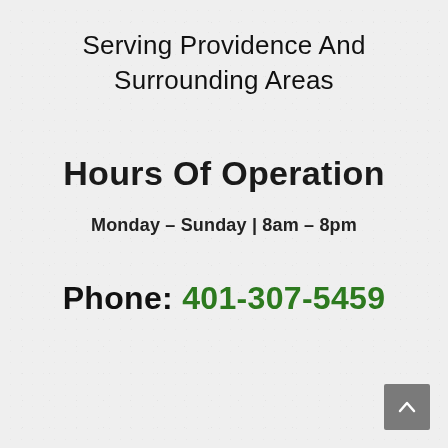Serving Providence And Surrounding Areas
Hours Of Operation
Monday – Sunday | 8am – 8pm
Phone: 401-307-5459